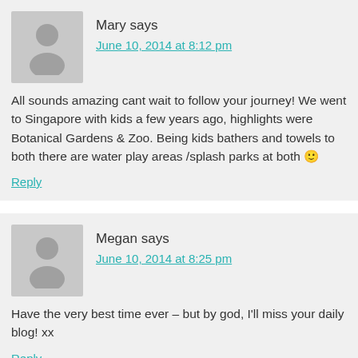Mary says
June 10, 2014 at 8:12 pm
All sounds amazing cant wait to follow your journey! We went to Singapore with kids a few years ago, highlights were Botanical Gardens & Zoo. Being kids bathers and towels to both there are water play areas /splash parks at both 🙂
Reply
Megan says
June 10, 2014 at 8:25 pm
Have the very best time ever – but by god, I'll miss your daily blog! xx
Reply